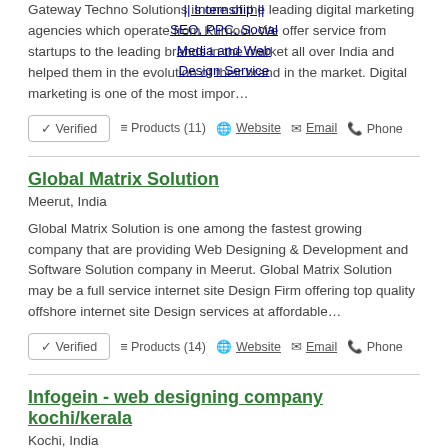|| Internship ||
SEO, PPC, Social Media and Web Design Service
Gateway Techno Solutions is one of the leading digital marketing agencies which operate from Kurnool. We offer service from startups to the leading brands in the market all over India and helped them in the evolution of their brand in the market. Digital marketing is one of the most impor…
✓ Verified   ≡ Products (11)   🌐 Website   ✉ Email   📞 Phone
Global Matrix Solution
Meerut, India
Global Matrix Solution is one among the fastest growing company that are providing Web Designing & Development and Software Solution company in Meerut. Global Matrix Solution may be a full service internet site Design Firm offering top quality offshore internet site Design services at affordable…
✓ Verified   ≡ Products (14)   🌐 Website   ✉ Email   📞 Phone
Infogein - web designing company kochi/kerala
Kochi, India